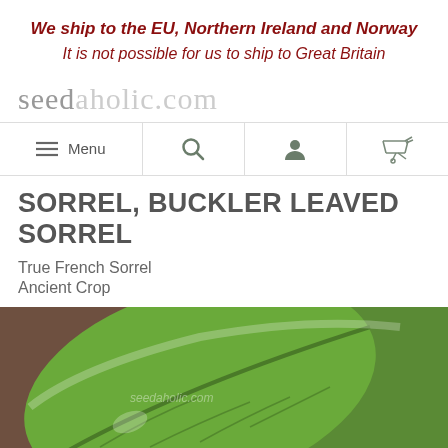We ship to the EU, Northern Ireland and Norway
It is not possible for us to ship to Great Britain
seedaholic.com
[Figure (screenshot): Navigation bar with hamburger Menu icon, search icon, user icon, and shopping cart icon]
SORREL, BUCKLER LEAVED SORREL
True French Sorrel
Ancient Crop
[Figure (photo): Close-up photograph of a green sorrel leaf with seedaholic.com watermark]